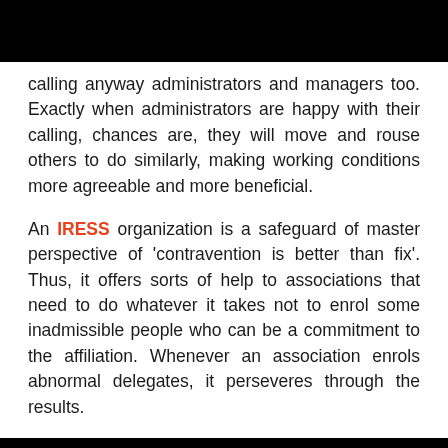calling anyway administrators and managers too. Exactly when administrators are happy with their calling, chances are, they will move and rouse others to do similarly, making working conditions more agreeable and more beneficial.
An IRESS organization is a safeguard of master perspective of 'contravention is better than fix'. Thus, it offers sorts of help to associations that need to do whatever it takes not to enrol some inadmissible people who can be a commitment to the affiliation. Whenever an association enrols abnormal delegates, it perseveres through the results.